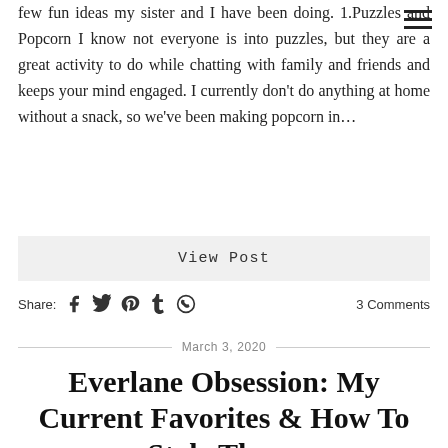few fun ideas my sister and I have been doing. 1.Puzzles and Popcorn I know not everyone is into puzzles, but they are a great activity to do while chatting with family and friends and keeps your mind engaged. I currently don't do anything at home without a snack, so we've been making popcorn in…
View Post
Share: [Facebook] [Twitter] [Pinterest] [Tumblr] [WhatsApp]   3 Comments
March 3, 2020
Everlane Obsession: My Current Favorites & How To Style Them.